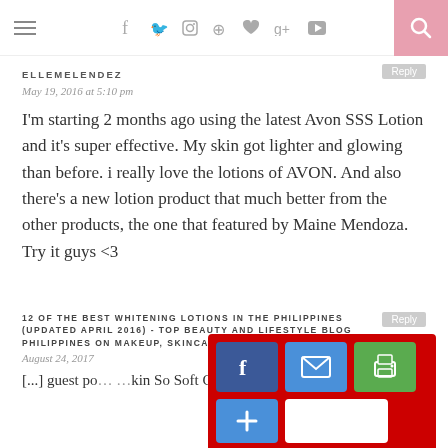≡  f  twitter  instagram  pinterest  heart  g+  youtube  [search]
ELLEMELENDUEZ
Reply
May 19, 2016 at 5:10 pm
I'm starting 2 months ago using the latest Avon SSS Lotion and it's super effective. My skin got lighter and glowing than before. i really love the lotions of AVON. And also there's a new lotion product that much better from the other products, the one that featured by Maine Mendoza. Try it guys <3
12 OF THE BEST WHITENING LOTIONS IN THE PHILIPPINES (UPDATED APRIL 2016) - TOP BEAUTY AND LIFESTYLE BLOG PHILIPPINES ON MAKEUP, SKINCARE, FITNESS, FASHION, FOOD, HEALTH
Reply
August 24, 2017
[...] guest po...  kin So Soft Glutathione L...  l review)
[Figure (infographic): Social share overlay buttons: red background with Facebook (blue), mail (blue), print (green), plus (blue), and blank white buttons]